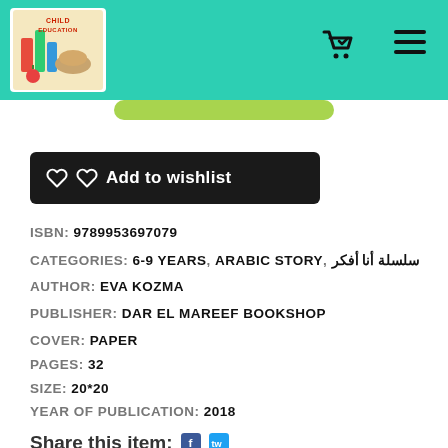[Figure (logo): Child Education bookshop logo with colorful books image and teal header background]
Add to wishlist
ISBN: 9789953697079
CATEGORIES: 6-9 YEARS, ARABIC STORY, سلسلة أنا أفكر
AUTHOR: EVA KOZMA
PUBLISHER: DAR EL MAREEF BOOKSHOP
COVER: PAPER
PAGES: 32
SIZE: 20*20
YEAR OF PUBLICATION: 2018
Share this item: